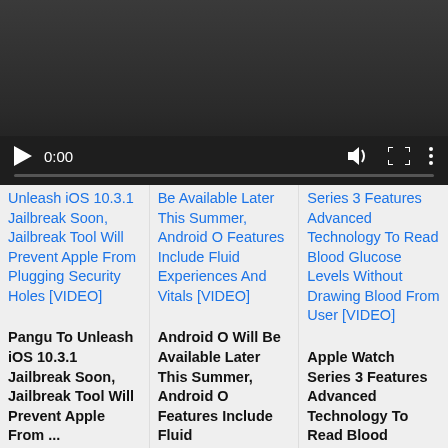[Figure (screenshot): Video player with dark background showing controls: play button, time 0:00, volume, fullscreen, and more options icons, with a progress bar.]
Unleash iOS 10.3.1 Jailbreak Soon, Jailbreak Tool Will Prevent Apple From Plugging Security Holes [VIDEO]
Be Available Later This Summer, Android O Features Include Fluid Experiences And Vitals [VIDEO]
Series 3 Features Advanced Technology To Read Blood Glucose Levels Without Drawing Blood From User [VIDEO]
Pangu To Unleash iOS 10.3.1 Jailbreak Soon, Jailbreak Tool Will Prevent Apple From ...
Android O Will Be Available Later This Summer, Android O Features Include Fluid
Apple Watch Series 3 Features Advanced Technology To Read Blood